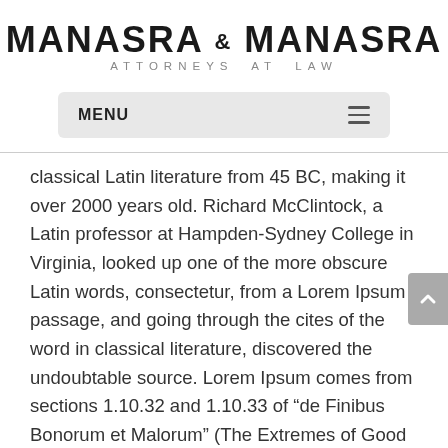MANASRA & MANASRA ATTORNEYS AT LAW
MENU
classical Latin literature from 45 BC, making it over 2000 years old. Richard McClintock, a Latin professor at Hampden-Sydney College in Virginia, looked up one of the more obscure Latin words, consectetur, from a Lorem Ipsum passage, and going through the cites of the word in classical literature, discovered the undoubtable source. Lorem Ipsum comes from sections 1.10.32 and 1.10.33 of “de Finibus Bonorum et Malorum” (The Extremes of Good and Evil) by Cicero, written in 45 BC. This book